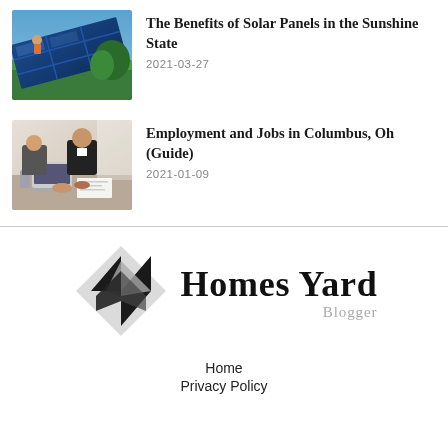[Figure (photo): Solar panels being installed on a roof with workers and blue sky background]
The Benefits of Solar Panels in the Sunshine State
2021-03-27
[Figure (photo): Business people working collaboratively at a desk with laptops and documents]
Employment and Jobs in Columbus, Oh (Guide)
2021-01-09
[Figure (logo): Homes Yard Blogger logo with geometric diamond shape in black and gray]
Home
Privacy Policy